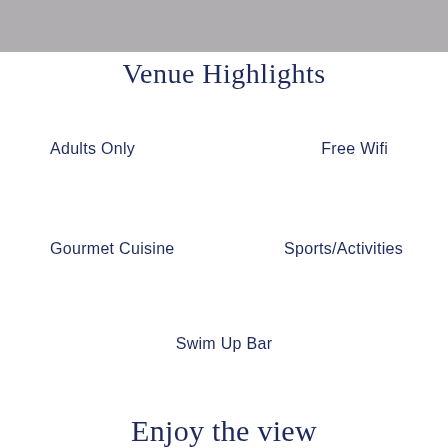[Figure (other): Gray header banner at the top of the page]
Venue Highlights
Adults Only
Free Wifi
Gourmet Cuisine
Sports/Activities
Swim Up Bar
Enjoy the view